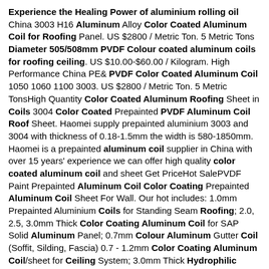Experience the Healing Power of aluminium rolling oil China 3003 H16 Aluminum Alloy Color Coated Aluminum Coil for Roofing Panel. US $2800 / Metric Ton. 5 Metric Tons Diameter 505/508mm PVDF Colour coated aluminum coils for roofing ceiling. US $10.00-$60.00 / Kilogram. High Performance China PE& PVDF Color Coated Aluminum Coil 1050 1060 1100 3003. US $2800 / Metric Ton. 5 Metric TonsHigh Quantity Color Coated Aluminum Roofing Sheet in Coils 3004 Color Coated Prepainted PVDF Aluminum Coil Roof Sheet. Haomei supply prepainted aluminium 3003 and 3004 with thickness of 0.18-1.5mm the width is 580-1850mm. Haomei is a prepainted aluminum coil supplier in China with over 15 years' experience we can offer high quality color coated aluminum coil and sheet Get PriceHot SalePVDF Paint Prepainted Aluminum Coil Color Coating Prepainted Aluminum Coil Sheet For Wall. Our hot includes: 1.0mm Prepainted Aluminium Coils for Standing Seam Roofing; 2.0, 2.5, 3.0mm Thick Color Coating Aluminum Coil for SAP Solid Aluminum Panel; 0.7mm Colour Aluminum Gutter Coil (Soffit, Silding, Fascia) 0.7 - 1.2mm Color Coating Aluminum Coil/sheet for Ceiling System; 3.0mm Thick Hydrophilic Aluminium Coil For P. P. Building Material Aluminum Coated Strip Coil P Sheet. 0.5mm Thickness Color Coated Wood Grain. Our main products include